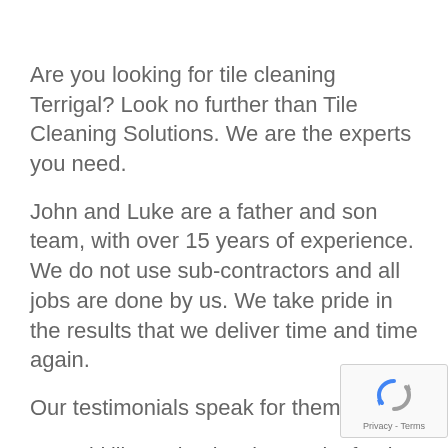Are you looking for tile cleaning Terrigal? Look no further than Tile Cleaning Solutions. We are the experts you need.
John and Luke are a father and son team, with over 15 years of experience. We do not use sub-contractors and all jobs are done by us. We take pride in the results that we deliver time and time again.
Our testimonials speak for themselves.
“I would like to thank Luke & John for the great job they did on cleaning my tiles! After first using Tile Cleanin...